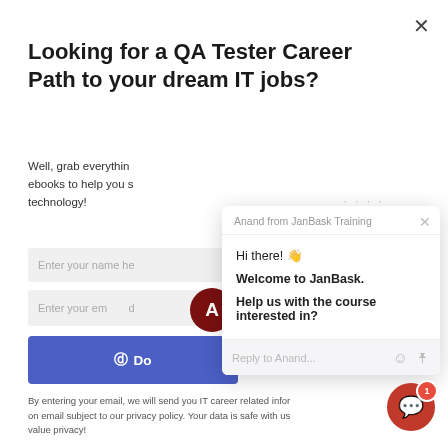Looking for a QA Tester Career Path to your dream IT jobs?
Well, grab everything ebooks to help you s technology!
Enter your name he
Enter your em d
Do
By entering your email, we will send you IT career related infor on email subject to our privacy policy. Your data is safe with us value privacy!
[Figure (screenshot): Chat popup from Anand at JanBask Training showing: Hi there! wave emoji, Welcome to JanBask., Help us with the course interested in? With Reply to Anand... input field and emoji/attachment icons. Avatar circle with letter A in dark red.]